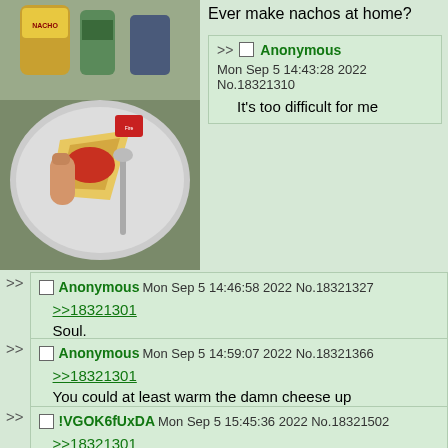[Figure (photo): Photo of nachos on a plate with condiment bottles in background]
Ever make nachos at home?
>> Anonymous Mon Sep 5 14:43:28 2022 No.18321310
It's too difficult for me
>> Anonymous Mon Sep 5 14:46:58 2022 No.18321327
>>18321301
Soul.
>> Anonymous Mon Sep 5 14:59:07 2022 No.18321366
>>18321301
You could at least warm the damn cheese up
>> !VGOK6fUxDA Mon Sep 5 15:45:36 2022 No.18321502
>>18321301
You make them 1 @ a time?